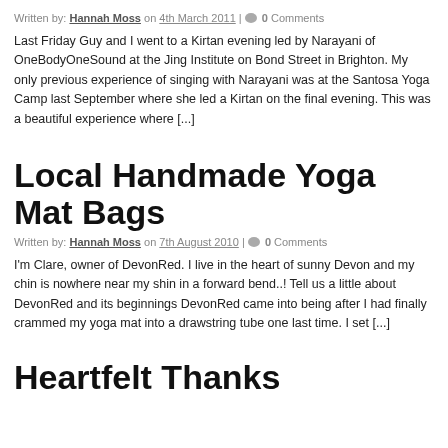Written by: Hannah Moss on 4th March 2011 | 0 Comments
Last Friday Guy and I went to a Kirtan evening led by Narayani of OneBodyOneSound at the Jing Institute on Bond Street in Brighton. My only previous experience of singing with Narayani was at the Santosa Yoga Camp last September where she led a Kirtan on the final evening. This was a beautiful experience where [...]
Local Handmade Yoga Mat Bags
Written by: Hannah Moss on 7th August 2010 | 0 Comments
I'm Clare, owner of DevonRed. I live in the heart of sunny Devon and my chin is nowhere near my shin in a forward bend..! Tell us a little about DevonRed and its beginnings DevonRed came into being after I had finally crammed my yoga mat into a drawstring tube one last time. I set [...]
Heartfelt Thanks